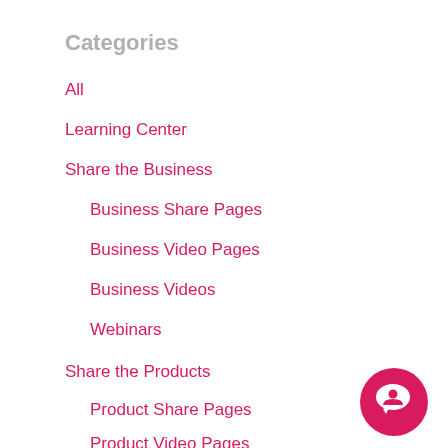Categories
All
Learning Center
Share the Business
Business Share Pages
Business Video Pages
Business Videos
Webinars
Share the Products
Product Share Pages
Product Video Pages
[Figure (illustration): Pink circular chat/comment button icon in bottom right corner]